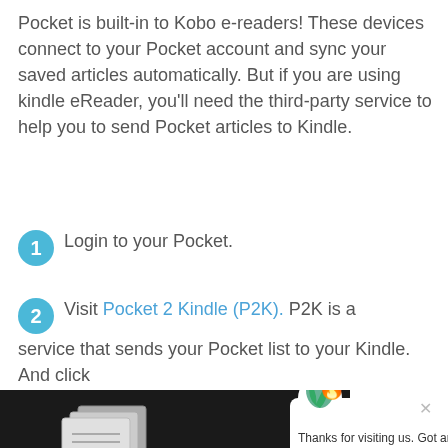Pocket is built-in to Kobo e-readers! These devices connect to your Pocket account and sync your saved articles automatically. But if you are using kindle eReader, you'll need the third-party service to help you to send Pocket articles to Kindle.
1. Login to your Pocket.
2. Visit Pocket 2 Kindle (P2K). P2K is a service that sends your Pocket list to your Kindle. And click
[Figure (screenshot): Screenshot of Pocket 2 Kindle (P2K) service page showing Pocket and Amazon Kindle logos with 'Send your Pocket articles to your Kindle, for free.' text and a 'Get Started' button. A chat popup overlay is visible with a flame logo icon and text 'Thanks for visiting us. Got any questions? Let's start talking!']